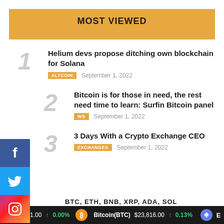MOST VIEWED
1 Helium devs propose ditching own blockchain for Solana | ALTCOIN | September 1, 2022
2 Bitcoin is for those in need, the rest need time to learn: Surfin Bitcoin panel | NEWS | September 1, 2022
3 3 Days With a Crypto Exchange CEO | EXCHANGES | September 1, 2022
(CASH) $1.00 ↑ 0.00% Bitcoin(BTC) $23,816.00 ↑ 0.13% E